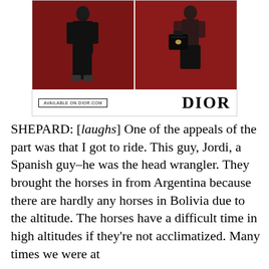[Figure (photo): Dior advertisement showing two fashion photos on a dark red background: left image shows a person in a black dress/skirt, right image shows a person holding a black Dior handbag. Bottom bar reads 'AVAILABLE ON DIOR.COM' and 'DIOR' logo.]
SHEPARD: [laughs] One of the appeals of the part was that I got to ride. This guy, Jordi, a Spanish guy–he was the head wrangler. They brought the horses in from Argentina because there are hardly any horses in Bolivia due to the altitude. The horses have a difficult time in high altitudes if they're not acclimatized. Many times we were at